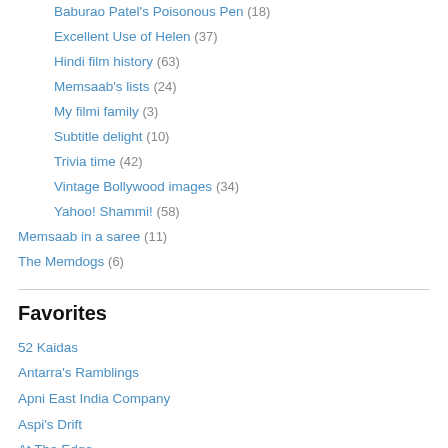Baburao Patel's Poisonous Pen (18)
Excellent Use of Helen (37)
Hindi film history (63)
Memsaab's lists (24)
My filmi family (3)
Subtitle delight (10)
Trivia time (42)
Vintage Bollywood images (34)
Yahoo! Shammi! (58)
Memsaab in a saree (11)
The Memdogs (6)
Favorites
52 Kaidas
Antarra's Ramblings
Apni East India Company
Aspi's Drift
At The Edge